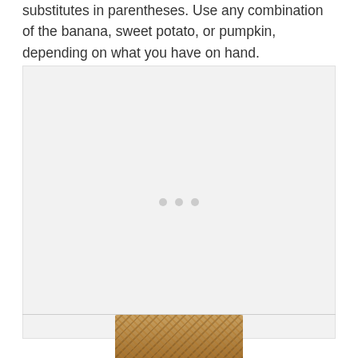substitutes in parentheses. Use any combination of the banana, sweet potato, or pumpkin, depending on what you have on hand.
[Figure (other): Large light gray placeholder image box with three small gray dots in the center, indicating a loading or unavailable image area.]
[Figure (photo): Partial photograph at the bottom of the page showing a baked food item, appearing to be a granola bar or baked good with a brown, textured surface.]